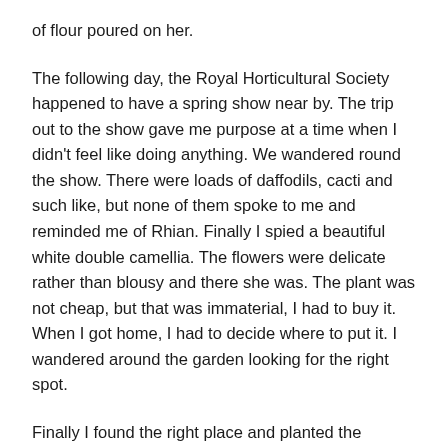of flour poured on her.
The following day, the Royal Horticultural Society happened to have a spring show near by.  The trip out to the show gave me purpose at a time when I didn't feel like doing anything.  We wandered round the show.  There were loads of daffodils, cacti and such like, but none of them spoke to me and reminded me of Rhian.  Finally I spied a beautiful white double camellia.  The flowers were delicate rather than blousy and there she was.  The plant was not cheap, but that was immaterial, I had to buy it.  When I got home, I had to decide where to put it.  I wandered around the garden looking for the right spot.
Finally I found the right place and planted the camellia.  It was a couple of years before it started to flower.  When I saw those wonderful blooms, Rhian was back with me –